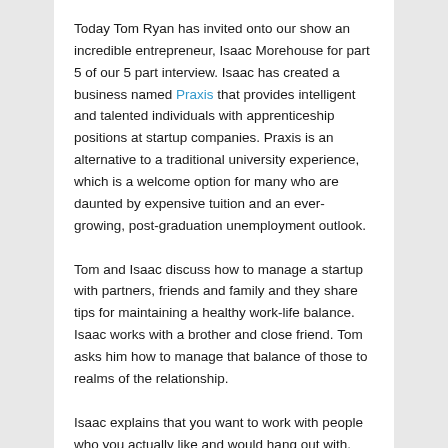Today Tom Ryan has invited onto our show an incredible entrepreneur, Isaac Morehouse for part 5 of our 5 part interview. Isaac has created a business named Praxis that provides intelligent and talented individuals with apprenticeship positions at startup companies. Praxis is an alternative to a traditional university experience, which is a welcome option for many who are daunted by expensive tuition and an ever-growing, post-graduation unemployment outlook.
Tom and Isaac discuss how to manage a startup with partners, friends and family and they share tips for maintaining a healthy work-life balance. Isaac works with a brother and close friend. Tom asks him how to manage that balance of those to realms of the relationship.
Isaac explains that you want to work with people who you actually like and would hang out with. Especially with a startup. Of course, he was wary of blending a friendship with a coworker relationship, but he came to learn that it